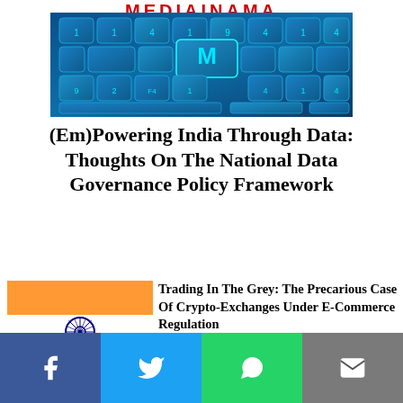MEDIAINAMA
[Figure (photo): Blue keyboard keys with numbers and letters, technology background]
(Em)Powering India Through Data: Thoughts On The National Data Governance Policy Framework
[Figure (photo): Indian flag with Bitcoin cryptocurrency coins overlay]
Trading In The Grey: The Precarious Case Of Crypto-Exchanges Under E-Commerce Regulation
[Figure (screenshot): Social media apps screenshot including YouTube]
Can The Government's Appellate Committee Compel...